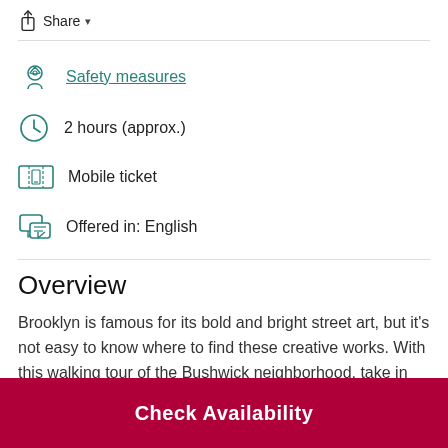Share
Safety measures
2 hours (approx.)
Mobile ticket
Offered in: English
Overview
Brooklyn is famous for its bold and bright street art, but it's not easy to know where to find these creative works. With this walking tour of the Bushwick neighborhood, take in the diversity and
Check Availability